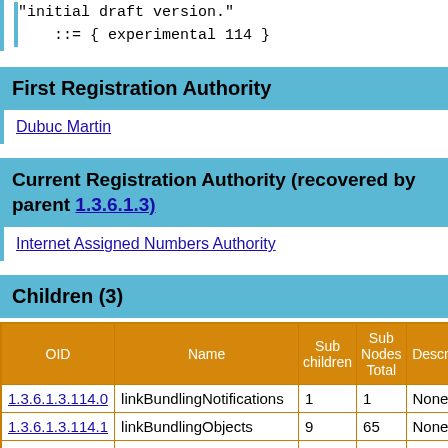"initial draft version."
::= { experimental 114 }
First Registration Authority
Dubuc Martin
Current Registration Authority (recovered by parent 1.3.6.1.3)
Internet Assigned Numbers Authority
Children (3)
| OID | Name | Sub children | Sub Nodes Total | Descr |
| --- | --- | --- | --- | --- |
| 1.3.6.1.3.114.0 | linkBundlingNotifications | 1 | 1 | None |
| 1.3.6.1.3.114.1 | linkBundlingObjects | 9 | 65 | None |
| 1.3.6.1.3.114.2 | linkBundlingConformance | 0 | 0 | None |
Brothers (144)